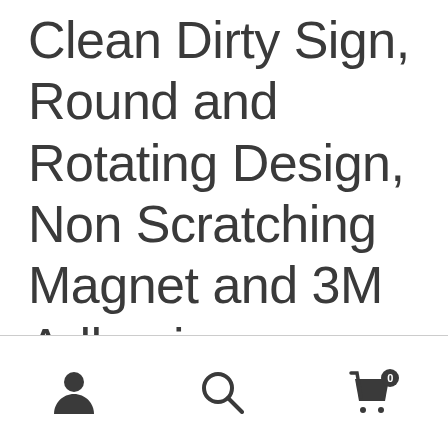Clean Dirty Sign, Round and Rotating Design, Non Scratching Magnet and 3M Adhesive Stickers, Perfect Kitchen Gadgets for All Dishwashers(Black)
[Figure (other): Bottom navigation bar with three icons: person/account icon on the left, search (magnifying glass) icon in the center, and shopping cart icon with badge showing '0' on the right]